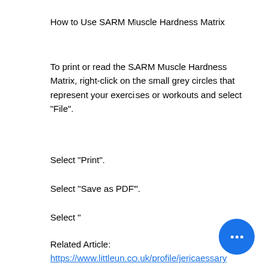How to Use SARM Muscle Hardness Matrix
To print or read the SARM Muscle Hardness Matrix, right-click on the small grey circles that represent your exercises or workouts and select "File".
Select "Print".
Select "Save as PDF".
Select "
Related Article:
https://www.littleun.co.uk/profile/jericaessary36165/profile
https://www.closeathand.com/profile/carlkranz25461/profile
https://www.yelem.org.il/profile/hortensia healson98518/profile
https://www.domobile.org/profile/aodyebram...